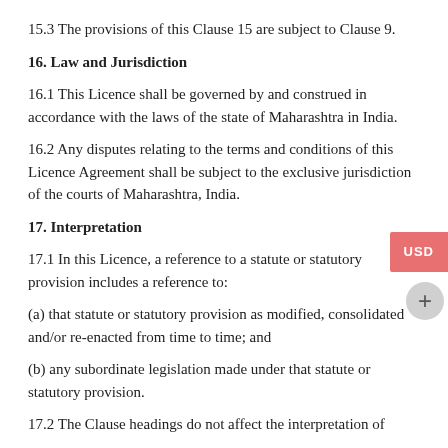15.3 The provisions of this Clause 15 are subject to Clause 9.
16. Law and Jurisdiction
16.1 This Licence shall be governed by and construed in accordance with the laws of the state of Maharashtra in India.
16.2 Any disputes relating to the terms and conditions of this Licence Agreement shall be subject to the exclusive jurisdiction of the courts of Maharashtra, India.
17. Interpretation
17.1 In this Licence, a reference to a statute or statutory provision includes a reference to:
(a) that statute or statutory provision as modified, consolidated and/or re-enacted from time to time; and
(b) any subordinate legislation made under that statute or statutory provision.
17.2 The Clause headings do not affect the interpretation of